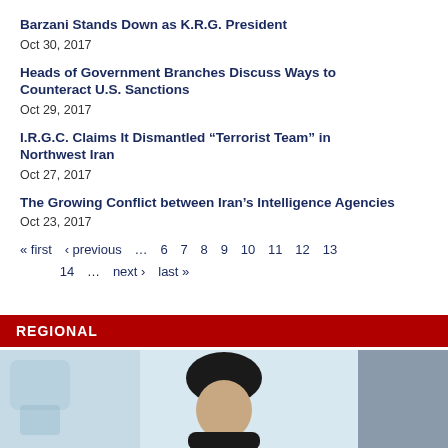Barzani Stands Down as K.R.G. President
Oct 30, 2017
Heads of Government Branches Discuss Ways to Counteract U.S. Sanctions
Oct 29, 2017
I.R.G.C. Claims It Dismantled “Terrorist Team” in Northwest Iran
Oct 27, 2017
The Growing Conflict between Iran’s Intelligence Agencies
Oct 23, 2017
« first ‹ previous … 6 7 8 9 10 11 12 13 14 … next › last »
REGIONAL
[Figure (photo): Photo of a person wearing a dark turban/headwear, with blurred background]